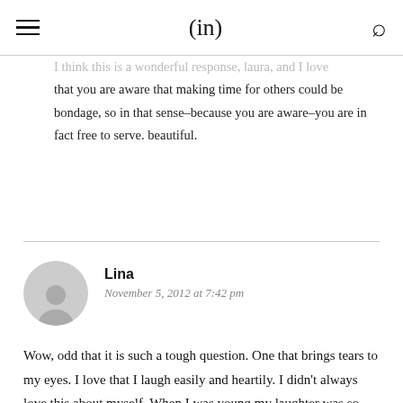(in)
I think this is a wonderful response, laura, and I love that you are aware that making time for others could be bondage, so in that sense–because you are aware–you are in fact free to serve. beautiful.
Lina
November 5, 2012 at 7:42 pm
Wow, odd that it is such a tough question. One that brings tears to my eyes. I love that I laugh easily and heartily. I didn't always love this about myself. When I was young my laughter was so uncontrollable that I choked on food, sprayed milk, coughed and